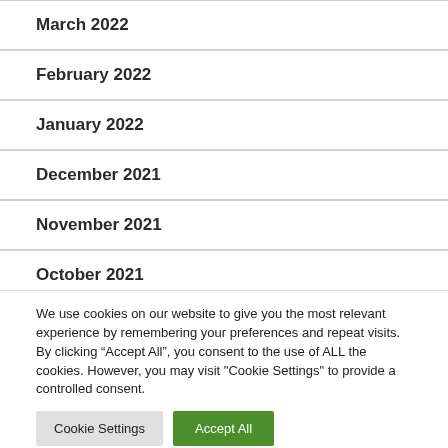March 2022
February 2022
January 2022
December 2021
November 2021
October 2021
June 2021
We use cookies on our website to give you the most relevant experience by remembering your preferences and repeat visits. By clicking “Accept All”, you consent to the use of ALL the cookies. However, you may visit "Cookie Settings" to provide a controlled consent.
Cookie Settings | Accept All